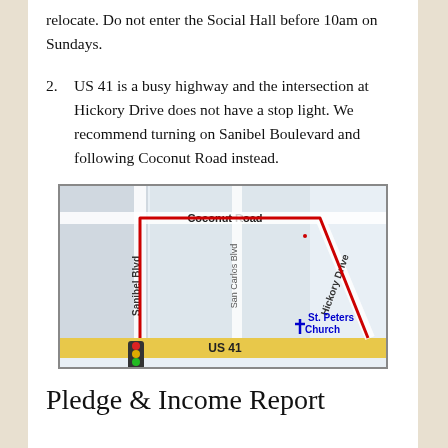relocate. Do not enter the Social Hall before 10am on Sundays.
2. US 41 is a busy highway and the intersection at Hickory Drive does not have a stop light. We recommend turning on Sanibel Boulevard and following Coconut Road instead.
[Figure (map): A street map showing Coconut Road at the top, Sanibel Blvd on the left, San Carlos Blvd in the middle, Hickory Drive diagonally on the right, US 41 at the bottom as a yellow road, a traffic light at the intersection, and St. Peters Church marked with a blue cross. A red route line traces along Coconut Road and Hickory Drive.]
Pledge & Income Report